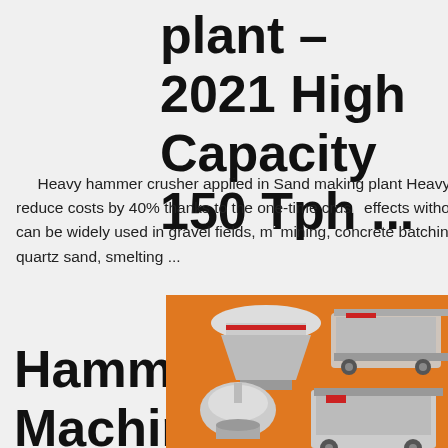plant – 2021 High Capacity 150 Tph ...
Heavy hammer crusher applied in Sand making plant Heavy hammer crushers from Vostosun can reduce costs by 40% thanks to the one-time crushing effects without a need for secondary crushing. The crusher can be widely used in gravel fields, mining, concrete batching plant, dry mortar, desulfurization, quartz sand, smelting ...
Hammer crusher_The NIle Machinery Co.,L...
[Figure (photo): Industrial crushing and grinding machinery equipment photos on orange background]
Enjoy 3% discount
Click to Chat
Enquiry
limingjlmofen@sina.com
2021-7-20 · 1. Big feed input, high crushing ratio, suitable for high hardness of material, large block degree, less stone powder 2.The material is suspended